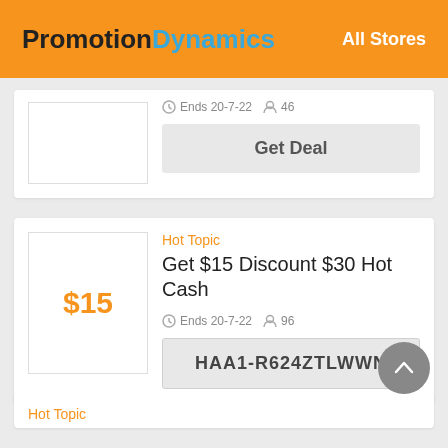PromotionDynamics  All Stores
Ends 20-7-22  46
Get Deal
Hot Topic
Get $15 Discount $30 Hot Cash
Ends 20-7-22  96
HAA1-R624ZTLWWN
Hot Topic